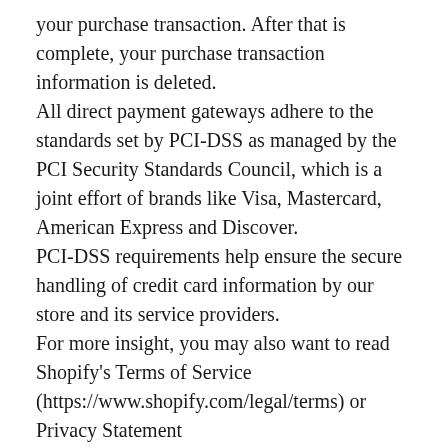your purchase transaction. After that is complete, your purchase transaction information is deleted. All direct payment gateways adhere to the standards set by PCI-DSS as managed by the PCI Security Standards Council, which is a joint effort of brands like Visa, Mastercard, American Express and Discover. PCI-DSS requirements help ensure the secure handling of credit card information by our store and its service providers. For more insight, you may also want to read Shopify's Terms of Service (https://www.shopify.com/legal/terms) or Privacy Statement (https://www.shopify.com/legal/privacy).
SECTION 5 - THIRD-PARTY SERVICES